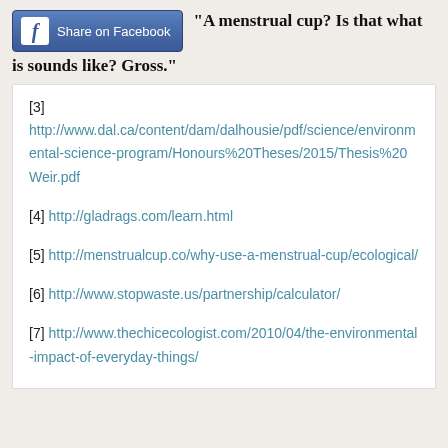"A menstrual cup? Is that what is sounds like? Gross."
[3] http://www.dal.ca/content/dam/dalhousie/pdf/science/environmental-science-program/Honours%20Theses/2015/Thesis%20Weir.pdf
[4] http://gladrags.com/learn.html
[5] http://menstrualcup.co/why-use-a-menstrual-cup/ecological/
[6] http://www.stopwaste.us/partnership/calculator/
[7] http://www.thechicecologist.com/2010/04/the-environmental-impact-of-everyday-things/